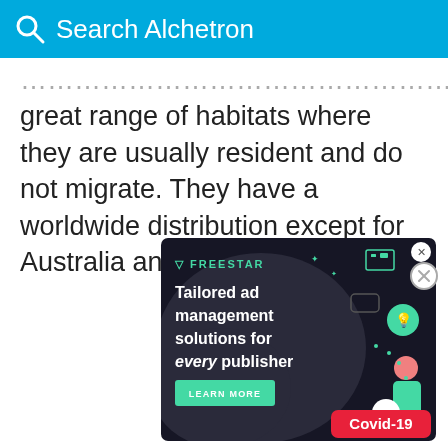Search Alchetron
great range of habitats where they are usually resident and do not migrate. They have a worldwide distribution except for Australia and the polar regions.
[Figure (infographic): Freestar advertisement with dark background showing 'Tailored ad management solutions for every publisher' with a Learn More button, decorative tech illustration, and Covid-19 badge in bottom right.]